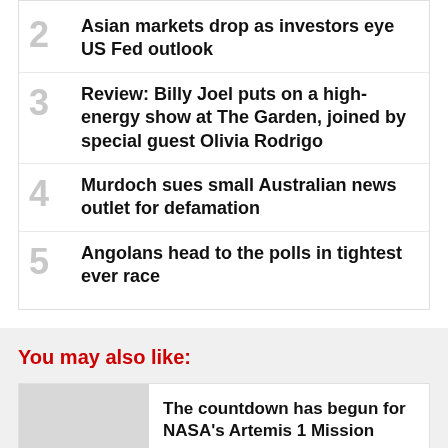2 Asian markets drop as investors eye US Fed outlook
3 Review: Billy Joel puts on a high-energy show at The Garden, joined by special guest Olivia Rodrigo
4 Murdoch sues small Australian news outlet for defamation
5 Angolans head to the polls in tightest ever race
You may also like:
The countdown has begun for NASA's Artemis 1 Mission